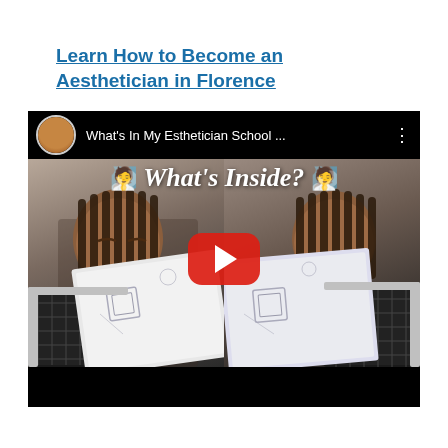Learn How to Become an Aesthetician in Florence
[Figure (screenshot): YouTube video thumbnail showing a young woman with braids holding open an esthetician school kit/case. The video is titled 'What's In My Esthetician School ...' with overlay text showing a person-with-turban emoji and 'What's Inside?' in italic font. A red YouTube play button is centered over the split-screen thumbnail.]